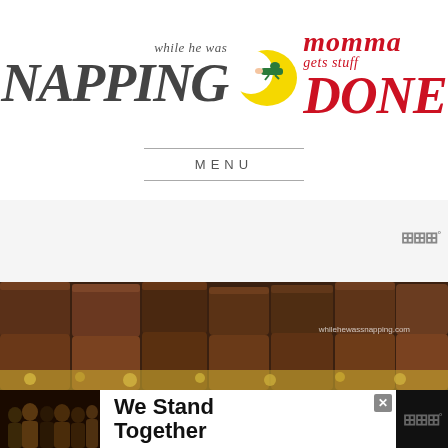[Figure (logo): Blog logo: 'while he was NAPPING momma gets stuff DONE' with yellow crescent moon and small sleeping figure graphic]
MENU
[Figure (photo): Close-up photo of chocolate fudge brownies cut into squares, with yellow crumbled topping. Watermark reads whilehewassnapping.com]
[Figure (photo): Advertisement banner showing group of people with arms around each other from behind, text reads 'We Stand Together']